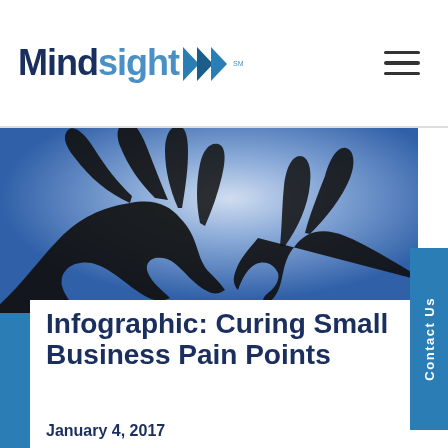Mindsight (logo with navigation hamburger menu)
[Figure (photo): Silhouette of two hands reaching toward each other against a blue/purple gradient background, suggesting connection or collaboration.]
Infographic: Curing Small Business Pain Points
January 4, 2017